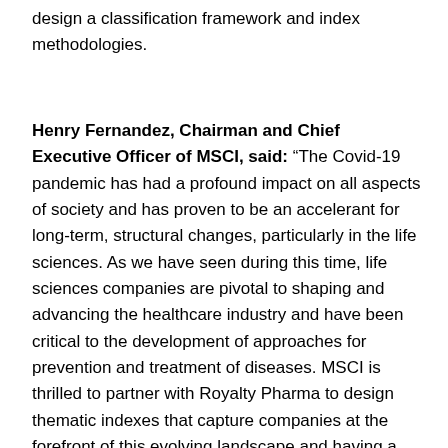design a classification framework and index methodologies.
Henry Fernandez, Chairman and Chief Executive Officer of MSCI, said: “The Covid-19 pandemic has had a profound impact on all aspects of society and has proven to be an accelerant for long-term, structural changes, particularly in the life sciences. As we have seen during this time, life sciences companies are pivotal to shaping and advancing the healthcare industry and have been critical to the development of approaches for prevention and treatment of diseases. MSCI is thrilled to partner with Royalty Pharma to design thematic indexes that capture companies at the forefront of this evolving landscape and having a positive impact on the future of our world.”